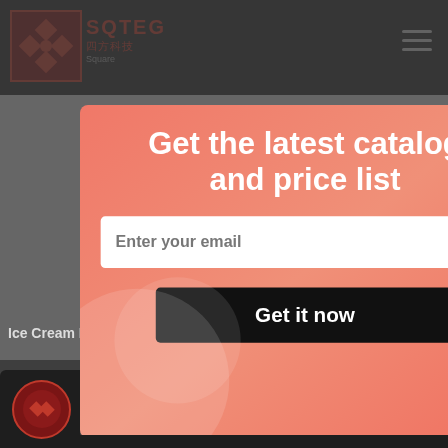[Figure (screenshot): SQTEG Square Technology website header with logo, hamburger menu, product category cards (Ice Cream Products, Fruit & Vegetable Products), and a YouTube video bar at the bottom showing 'Spiral Freezer by Square Technology']
Get the latest catalog and price list
Enter your email
Get it now
Ice Cream Products
Fruit & Vegetable Products
Spiral Freezer by Square Technology